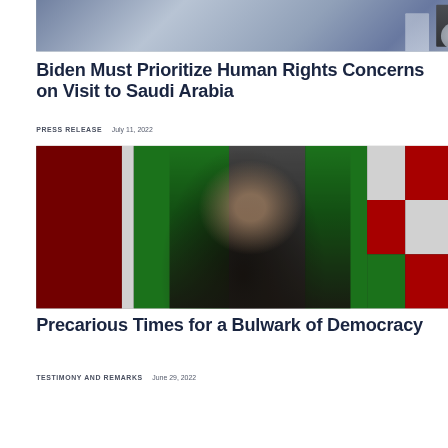[Figure (photo): Partial photo of a person in a suit near what appears to be a government seal or official aircraft, cropped at top]
Biden Must Prioritize Human Rights Concerns on Visit to Saudi Arabia
PRESS RELEASE   July 11, 2022
[Figure (photo): Photo of a man in a dark suit with a purple tie speaking at a podium, with flags (Hungarian and others) in the background. A 'To' watermark appears at bottom right.]
Precarious Times for a Bulwark of Democracy
TESTIMONY AND REMARKS   June 29, 2022